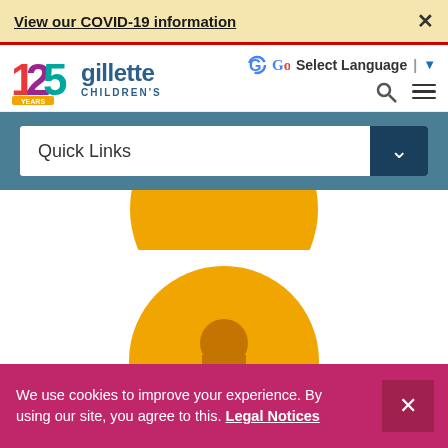View our COVID-19 information
[Figure (logo): Gillette Children's 125 Years logo with text 'gillette CHILDREN'S']
Select Language
Quick Links
[Figure (illustration): Partially visible golden circle with text 'Brain Injury' in a darker orange italic font]
[Figure (illustration): Golden circle with a head/person silhouette icon and the text 'CONCUSSIONS' in white]
We use cookies to improve your experience. By using our site, you agree to this. Legal Notices